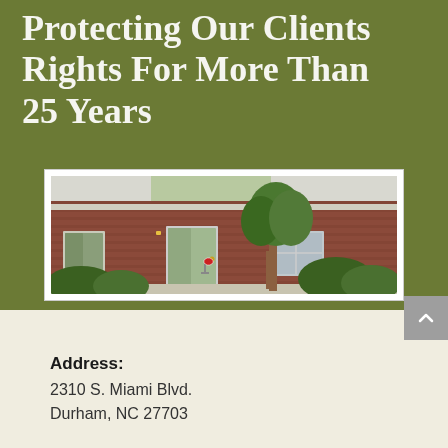Protecting Our Clients Rights For More Than 25 Years
[Figure (photo): Exterior photograph of a brick law office building with white-trimmed doors and windows, a crape myrtle tree in front, manicured shrubs, and a sidewalk entrance. A red stop sign is visible near the entrance.]
Address:
2310 S. Miami Blvd.
Durham, NC 27703